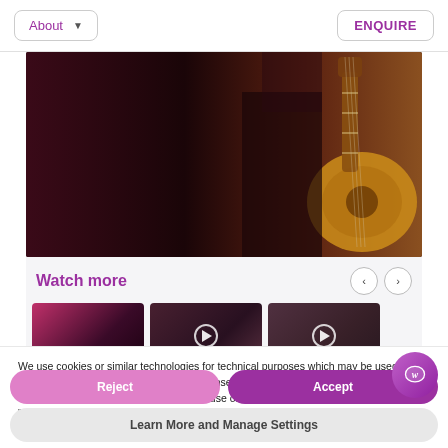About
ENQUIRE
[Figure (photo): Mariachi band musicians in black outfits holding guitars and other instruments on a dark stage]
Watch more
[Figure (photo): Three video thumbnails showing mariachi band performers]
We use cookies or similar technologies for technical purposes which may be used for personalisation of ads and with your consent, for other purposes as specified in the cookie policy. You can consent to the use of such technologies by using the "Accept" button or "Reject" to deny these cookies.
Reject
Accept
Learn More and Manage Settings